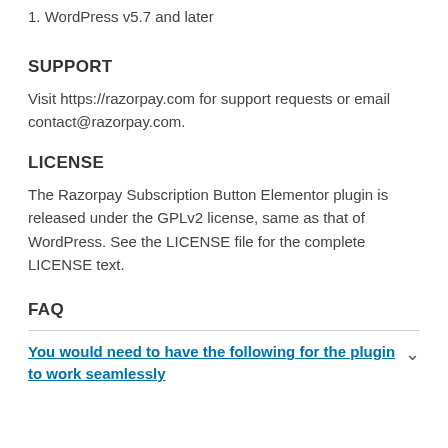1. WordPress v5.7 and later
SUPPORT
Visit https://razorpay.com for support requests or email contact@razorpay.com.
LICENSE
The Razorpay Subscription Button Elementor plugin is released under the GPLv2 license, same as that of WordPress. See the LICENSE file for the complete LICENSE text.
FAQ
You would need to have the following for the plugin to work seamlessly